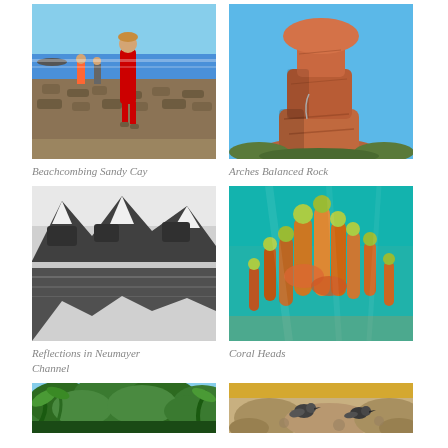[Figure (photo): Person in red shirt walking on a rocky beach with ocean and other people in background]
[Figure (photo): Tall stack of red sandstone balanced rocks against a blue sky with green vegetation at base]
Beachcombing Sandy Cay
Arches Balanced Rock
[Figure (photo): Black and white photo of snowy mountains reflected in calm water]
[Figure (photo): Underwater photo of colorful coral heads in turquoise water]
Reflections in Neumayer Channel
Coral Heads
[Figure (photo): Lush green tropical vegetation and trees]
[Figure (photo): Rocky terrain with birds]